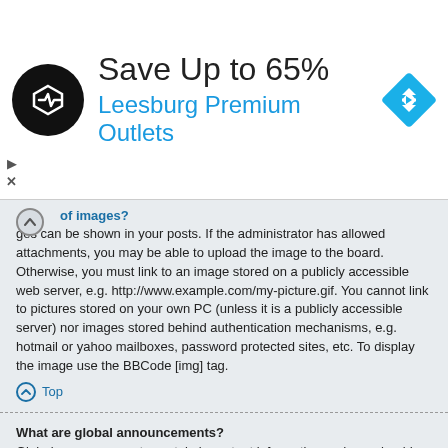[Figure (infographic): Advertisement banner: Save Up to 65% at Leesburg Premium Outlets with logo and navigation icon]
ges can be shown in your posts. If the administrator has allowed attachments, you may be able to upload the image to the board. Otherwise, you must link to an image stored on a publicly accessible web server, e.g. http://www.example.com/my-picture.gif. You cannot link to pictures stored on your own PC (unless it is a publicly accessible server) nor images stored behind authentication mechanisms, e.g. hotmail or yahoo mailboxes, password protected sites, etc. To display the image use the BBCode [img] tag.
Top
What are global announcements?
Global announcements contain important information and you should read them whenever possible. They will appear at the top of every forum and within your User Control Panel. Global announcement permissions are granted by the board administrator.
Top
What are announcements?
Announcements often contain important information for the forum you are